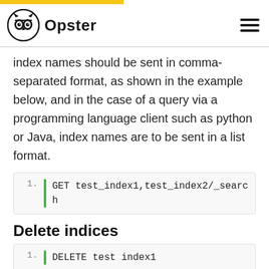[Figure (logo): Opster logo with owl icon and text 'Opster']
index names should be sent in comma-separated format, as shown in the example below, and in the case of a query via a programming language client such as python or Java, index names are to be sent in a list format.
Delete indices